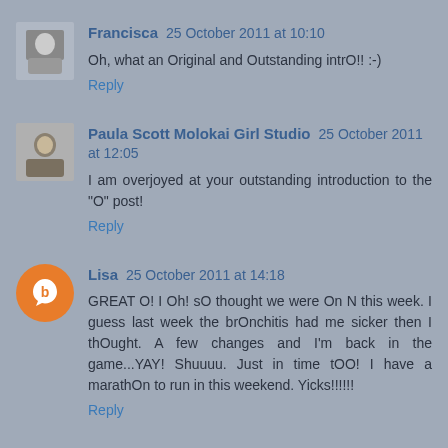Francisca 25 October 2011 at 10:10
Oh, what an Original and Outstanding intrO!! :-)
Reply
Paula Scott Molokai Girl Studio 25 October 2011 at 12:05
I am overjoyed at your outstanding introduction to the "O" post!
Reply
Lisa 25 October 2011 at 14:18
GREAT O! I Oh! sO thought we were On N this week. I guess last week the brOnchitis had me sicker then I thOught. A few changes and I'm back in the game...YAY! Shuuuu. Just in time tOO! I have a marathOn to run in this weekend. Yicks!!!!!!
Reply